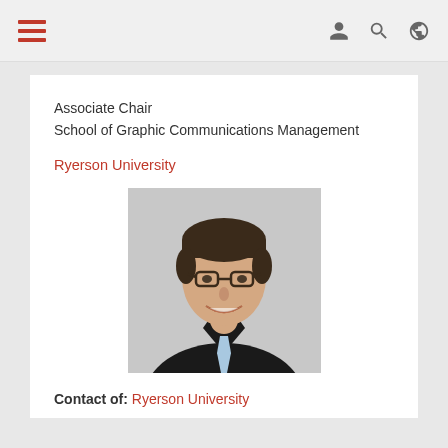Navigation bar with hamburger menu and icons
Associate Chair
School of Graphic Communications Management
Ryerson University
[Figure (photo): Professional headshot of a middle-aged man wearing glasses, a dark shirt and light blue tie, smiling, against a light grey background]
Contact of: Ryerson University